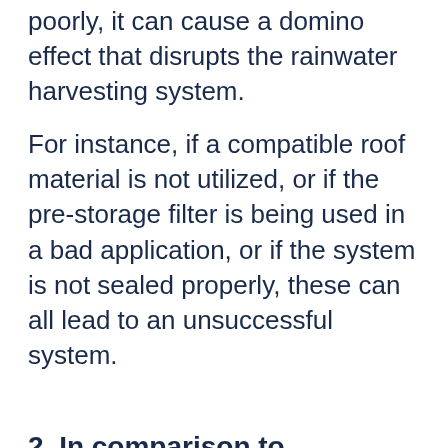poorly, it can cause a domino effect that disrupts the rainwater harvesting system.
For instance, if a compatible roof material is not utilized, or if the pre-storage filter is being used in a bad application, or if the system is not sealed properly, these can all lead to an unsuccessful system.
2. In comparison to municipal water quality and well water quality, where does rainwater harvesting stand?
One of the top reasons why people are choosing rainwater harvesting for their